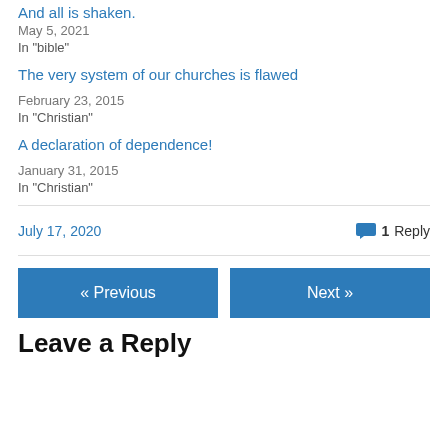And all is shaken.
May 5, 2021
In "bible"
The very system of our churches is flawed
February 23, 2015
In "Christian"
A declaration of dependence!
January 31, 2015
In "Christian"
July 17, 2020
1 Reply
« Previous
Next »
Leave a Reply